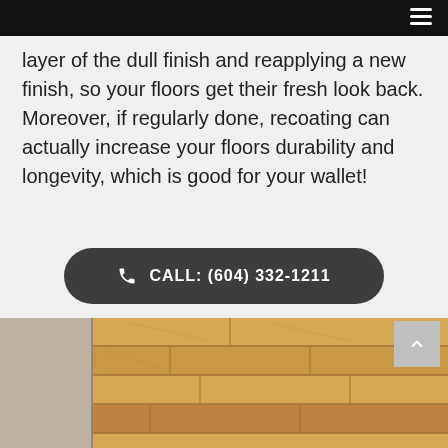layer of the dull finish and reapplying a new finish, so your floors get their fresh look back. Moreover, if regularly done, recoating can actually increase your floors durability and longevity, which is good for your wallet!
CALL: (604) 332-1211
GET A FREE ESTIMATE
[Figure (photo): Photo of hardwood flooring planks in warm golden-brown tones with a beige rug or carpet visible at the edge]